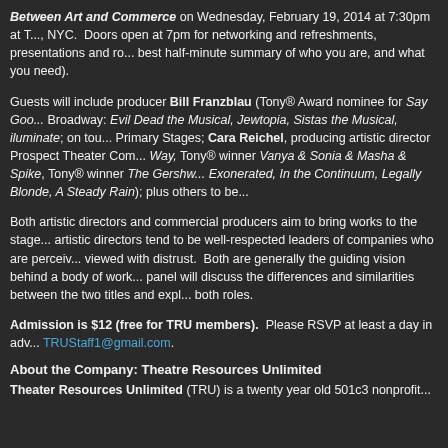Between Art and Commerce on Wednesday, February 19, 2014 at 7:30pm at [venue], NYC. Doors open at 7pm for networking and refreshments, presentations and ro... best half-minute summary of who you are, and what you need).
Guests will include producer Bill Franzblau (Tony® Award nominee for Say Goo... Broadway: Evil Dead the Musical, Jewtopia, Sistas the Musical, iluminate; on tou... Primary Stages; Cara Reichel, producing artistic director Prospect Theater Com... Way, Tony® winner Vanya & Sonia & Masha & Spike, Tony® winner The Gershw... Exonerated, In the Continuum, Legally Blonde, A Steady Rain); plus others to be...
Both artistic directors and commercial producers aim to bring works to the stage... artistic directors tend to be well-respected leaders of companies who are perceiv... viewed with distrust. Both are generally the guiding vision behind a body of work... panel will discuss the differences and similarities between the two titles and expl... both roles.
Admission is $12 (free for TRU members). Please RSVP at least a day in adv... TRUStaff1@gmail.com.
About the Company: Theatre Resources Unlimited
Theater Resources Unlimited (TRU) is a twenty year old 501c3 nonprofit...